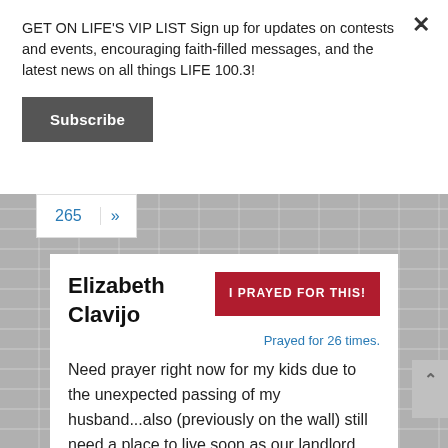GET ON LIFE'S VIP LIST Sign up for updates on contests and events, encouraging faith-filled messages, and the latest news on all things LIFE 100.3!
Subscribe
265 »
Elizabeth Clavijo
I PRAYED FOR THIS!
Prayed for 26 times.
Need prayer right now for my kids due to the unexpected passing of my husband...also (previously on the wall) still need a place to live soon as our landlord told us to be out by end of